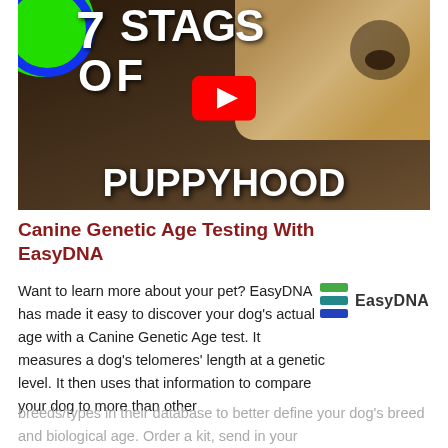[Figure (screenshot): YouTube video thumbnail showing '7 Stages of Puppyhood' with a golden retriever puppy, green circle with blue arc, bold white text, and a YouTube play button overlay]
Canine Genetic Age Testing With EasyDNA
Want to learn more about your pet? EasyDNA has made it easy to discover your dog's actual age with a Canine Genetic Age test. It measures a dog's telomeres' length at a genetic level. It then uses that information to compare your dog to more than other
[Figure (logo): EasyDNA logo with colored horizontal bars (green, teal, blue) and the text EasyDNA]
breeds/types in their database to better define your dog's breed and biological age. Order a kit, send in your